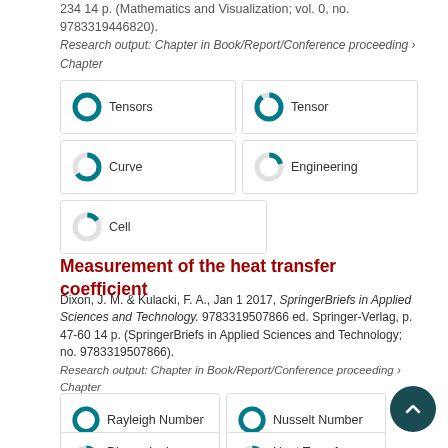234 14 p. (Mathematics and Visualization; vol. 0, no. 9783319446820).
Research output: Chapter in Book/Report/Conference proceeding › Chapter
[Figure (infographic): Five keyword badges with donut chart icons: Tensors (100%), Tensor (90%), Curve (65%), Engineering (20%), Cell (15%)]
Measurement of the heat transfer coefficient
Dixon, J. M. & Kulacki, F. A., Jan 1 2017, SpringerBriefs in Applied Sciences and Technology. 9783319507866 ed. Springer-Verlag, p. 47-60 14 p. (SpringerBriefs in Applied Sciences and Technology; no. 9783319507866).
Research output: Chapter in Book/Report/Conference proceeding › Chapter
[Figure (infographic): Four keyword badges with donut chart icons: Rayleigh Number (100%), Nusselt Number (100%), Dimensionless Number (90%), Heat Transfer Coefficient (85%)]